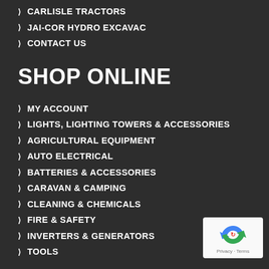CARLISLE TRACTORS
JAI-COR HYDRO EXCAVAC
CONTACT US
SHOP ONLINE
MY ACCOUNT
LIGHTS, LIGHTING TOWERS & ACCESSORIES
AGRICULTURAL EQUIPMENT
AUTO ELECTRICAL
BATTERIES & ACCESSORIES
CARAVAN & CAMPING
CLEANING & CHEMICALS
FIRE & SAFETY
INVERTERS & GENERATORS
TOOLS
[Figure (logo): Google reCAPTCHA badge with recycling arrow logo and Privacy - Terms text]